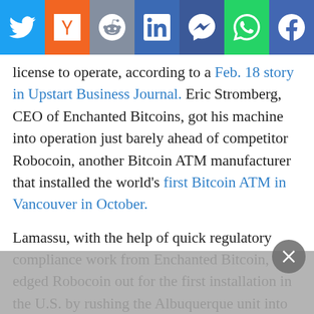[Figure (other): Social media share bar with Twitter, Hacker News, Reddit, LinkedIn, Messenger, WhatsApp, Facebook buttons]
license to operate, according to a Feb. 18 story in Upstart Business Journal. Eric Stromberg, CEO of Enchanted Bitcoins, got his machine into operation just barely ahead of competitor Robocoin, another Bitcoin ATM manufacturer that installed the world's first Bitcoin ATM in Vancouver in October.
Lamassu, with the help of quick regulatory compliance work from Enchanted Bitcoin, edged Robocoin out for the first installation in the U.S. by rushing the Albuquerque unit into place, despite a Feb. 18 announcement from Robocoin that it would install its first U.S. unit in Austin, Texas the following day. Lamassu doubled down by getting its second unit installed in Boston's South Station commuter hub Feb. 19. The unit